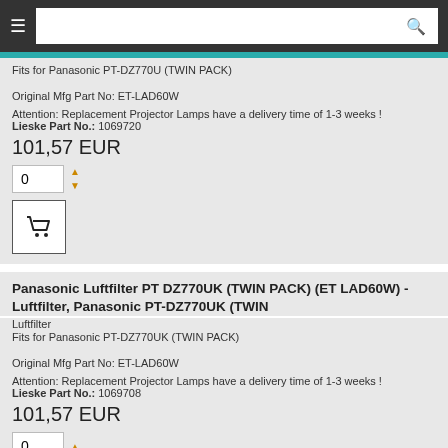≡ [search box] 🔍
Fits for Panasonic PT-DZ770U (TWIN PACK)
Original Mfg Part No: ET-LAD60W
Attention: Replacement Projector Lamps have a delivery time of 1-3 weeks !
Lieske Part No.: 1069720
101,57 EUR
Panasonic Luftfilter PT DZ770UK (TWIN PACK) (ET LAD60W) - Luftfilter, Panasonic PT-DZ770UK (TWIN
Luftfilter
Fits for Panasonic PT-DZ770UK (TWIN PACK)
Original Mfg Part No: ET-LAD60W
Attention: Replacement Projector Lamps have a delivery time of 1-3 weeks !
Lieske Part No.: 1069708
101,57 EUR